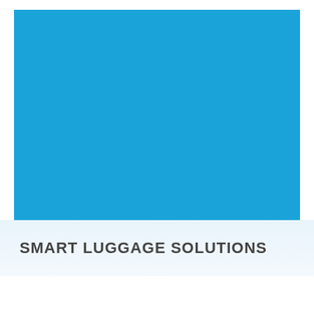[Figure (illustration): Solid sky-blue rectangular block filling the upper portion of the page, serving as a decorative/brand image placeholder.]
SMART LUGGAGE SOLUTIONS